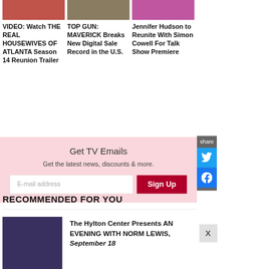[Figure (photo): Thumbnail image for Real Housewives of Atlanta article]
VIDEO: Watch THE REAL HOUSEWIVES OF ATLANTA Season 14 Reunion Trailer
[Figure (photo): Thumbnail image for Top Gun Maverick article]
TOP GUN: MAVERICK Breaks New Digital Sale Record in the U.S.
[Figure (photo): Thumbnail image for Jennifer Hudson article]
Jennifer Hudson to Reunite With Simon Cowell For Talk Show Premiere
Get TV Emails
Get the latest news, discounts & more.
RECOMMENDED FOR YOU
[Figure (photo): Thumbnail photo of Norm Lewis for Hylton Center event article]
The Hylton Center Presents AN EVENING WITH NORM LEWIS, September 18